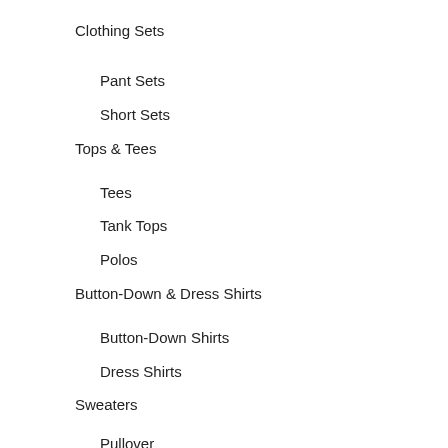Clothing Sets
Pant Sets
Short Sets
Tops & Tees
Tees
Tank Tops
Polos
Button-Down & Dress Shirts
Button-Down Shirts
Dress Shirts
Sweaters
Pullover
Cardigan